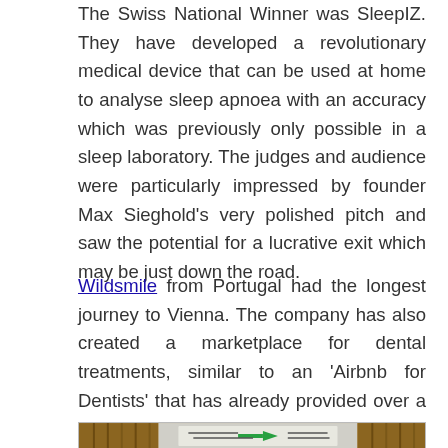The Swiss National Winner was SleepIZ. They have developed a revolutionary medical device that can be used at home to analyse sleep apnoea with an accuracy which was previously only possible in a sleep laboratory. The judges and audience were particularly impressed by founder Max Sieghold's very polished pitch and saw the potential for a lucrative exit which may be just down the road.
Wildsmile from Portugal had the longest journey to Vienna. The company has also created a marketplace for dental treatments, similar to an 'Airbnb for Dentists' that has already provided over a million treatments and wants to conquer the DACH region next.
[Figure (photo): Partial image of what appears to be a library or bookshelf background with some event signage visible, partially cropped at the bottom of the page.]